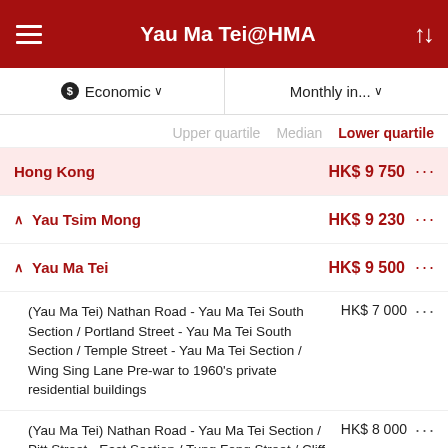Yau Ma Tei@HMA
Economic  Monthly in...
Upper quartile   Median   Lower quartile
Hong Kong  HK$ 9 750
Yau Tsim Mong  HK$ 9 230
Yau Ma Tei  HK$ 9 500
(Yau Ma Tei) Nathan Road - Yau Ma Tei South Section / Portland Street - Yau Ma Tei South Section / Temple Street - Yau Ma Tei Section / Wing Sing Lane Pre-war to 1960's private residential buildings  HK$ 7 000
(Yau Ma Tei) Nathan Road - Yau Ma Tei Section / Pitt Street - East Section / Tung Fong Street / Cliff Road Pre-war to 1960's private residential buildings  HK$ 8 000